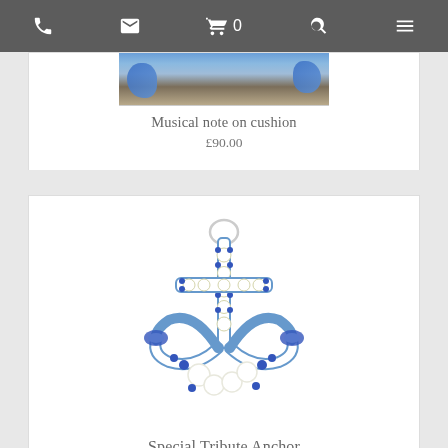Navigation bar with phone, email, cart (0), search, and menu icons
[Figure (photo): Partial view of a floral arrangement on cushion, blue and white flowers]
Musical note on cushion
£90.00
[Figure (photo): Floral anchor tribute made of white and blue flowers including roses and daisies]
Special Tribute Anchor